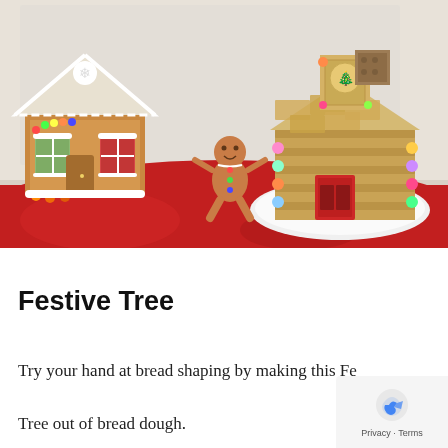[Figure (photo): Photo of gingerbread houses and cookie decorations on a red tablecloth. Left side shows a classic gingerbread house with white icing and colorful candy decorations. Center has a gingerbread man cookie figure. Right side features a log-cabin style structure made of pretzel sticks and crackers, decorated with colorful candies, on a white plate. Background shows bright window light.]
Festive Tree
Try your hand at bread shaping by making this Festive Tree out of bread dough.